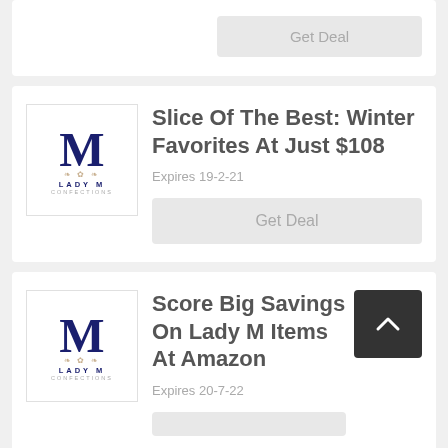Get Deal
Slice Of The Best: Winter Favorites At Just $108
Expires 19-2-21
Get Deal
Score Big Savings On Lady M Items At Amazon
Expires 20-7-22